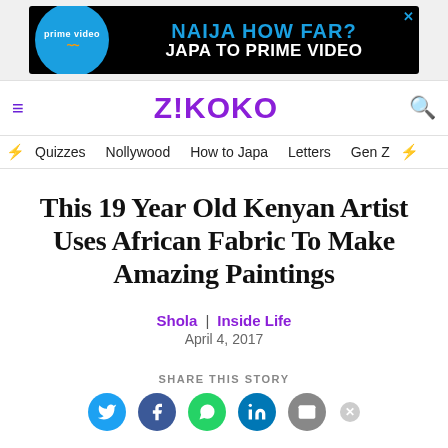[Figure (screenshot): Amazon Prime Video advertisement banner with blue circle logo on black background, text reads: NAIJA HOW FAR? JAPA TO PRIME VIDEO]
Z!KOKO navigation bar with hamburger menu and search icon
Quizzes | Nollywood | How to Japa | Letters | Gen Z
This 19 Year Old Kenyan Artist Uses African Fabric To Make Amazing Paintings
Shola | Inside Life
April 4, 2017
SHARE THIS STORY